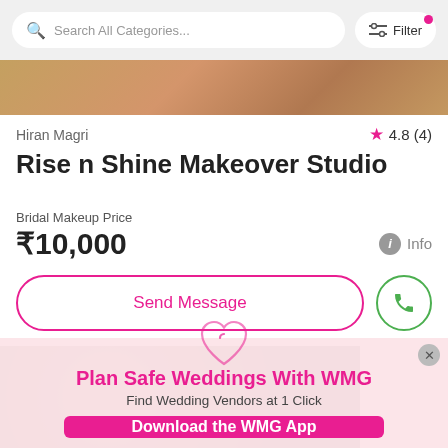Search All Categories... | Filter
[Figure (photo): Partial image strip of bridal/wedding photography]
Hiran Magri
4.8 (4)
Rise n Shine Makeover Studio
Bridal Makeup Price
₹10,000
Info
Send Message
[Figure (photo): Partial image of jewelry/bridal accessories]
Plan Safe Weddings With WMG
Find Wedding Vendors at 1 Click
Download the WMG App